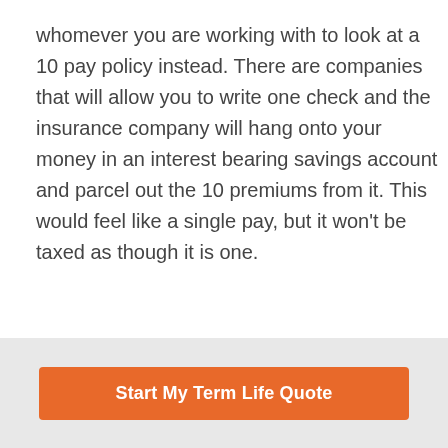whomever you are working with to look at a 10 pay policy instead. There are companies that will allow you to write one check and the insurance company will hang onto your money in an interest bearing savings account and parcel out the 10 premiums from it. This would feel like a single pay, but it won't be taxed as though it is one.
Reply
Start My Term Life Quote